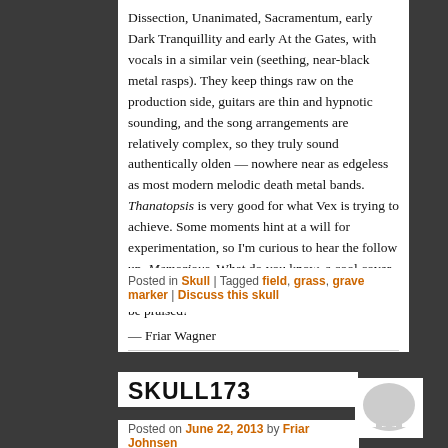Dissection, Unanimated, Sacramentum, early Dark Tranquillity and early At the Gates, with vocals in a similar vein (seething, near-black metal rasps). They keep things raw on the production side, guitars are thin and hypnotic sounding, and the song arrangements are relatively complex, so they truly sound authentically olden — nowhere near as edgeless as most modern melodic death metal bands. Thanatopsis is very good for what Vex is trying to achieve. Some moments hint at a will for experimentation, so I'm curious to hear the follow up, Memorious. What do you know, a cool cover and some good music to go along with it!? Skulls be praised!
— Friar Wagner
Posted in Skull | Tagged field, grass, grave marker | Discuss this skull
SKULL173
Posted on June 22, 2013 by Friar Johnsen